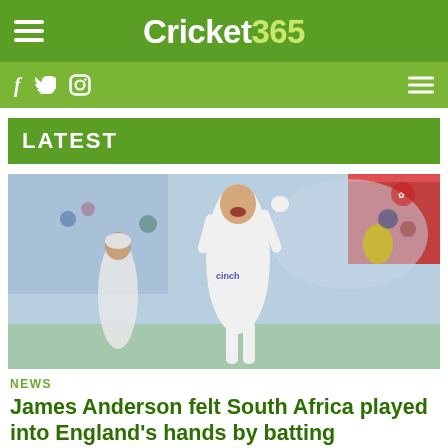Cricket365
LATEST
[Figure (photo): James Anderson celebrating a wicket in England Test whites with 'cinch' sponsor logo, fist pumped, shouting, with crowd and teammate in background]
NEWS
James Anderson felt South Africa played into England's hands by batting